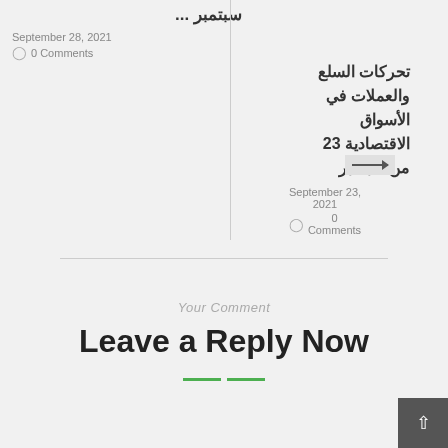سبتمبر...
September 28, 2021
0 Comments
تحركات السلع والعملات في الأسواق الاقتصادية 23 من سبتمبر
September 23, 2021  0 Comments
Your Comment
Leave a Reply Now